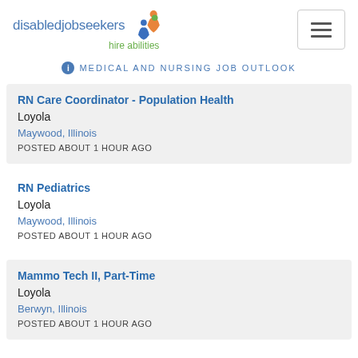disabledjobseekers hire abilities
MEDICAL AND NURSING JOB OUTLOOK
RN Care Coordinator - Population Health
Loyola
Maywood, Illinois
POSTED ABOUT 1 HOUR AGO
RN Pediatrics
Loyola
Maywood, Illinois
POSTED ABOUT 1 HOUR AGO
Mammo Tech II, Part-Time
Loyola
Berwyn, Illinois
POSTED ABOUT 1 HOUR AGO